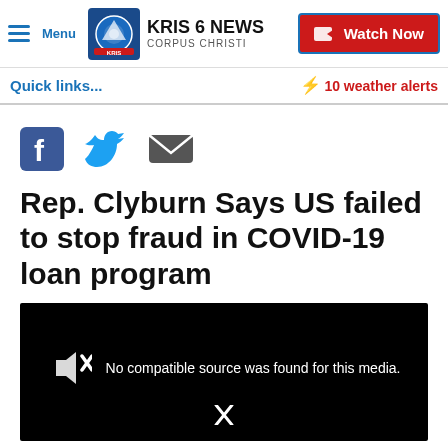KRIS 6 NEWS CORPUS CHRISTI — Watch Now
Quick links...
⚡ 10 weather alerts
[Figure (infographic): Social sharing icons: Facebook, Twitter, Email]
Rep. Clyburn Says US failed to stop fraud in COVID-19 loan program
[Figure (screenshot): Video player showing 'No compatible source was found for this media.' with mute icon and close X button on black background]